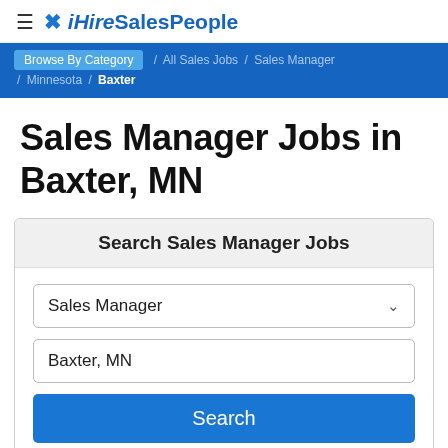≡ ✕ iHireSalesPeople
Browse By Category / All Sales Jobs / Sales Manager / Minnesota / Baxter
Sales Manager Jobs in Baxter, MN
Search Sales Manager Jobs
Sales Manager [dropdown]
Baxter, MN [input]
Search [button]